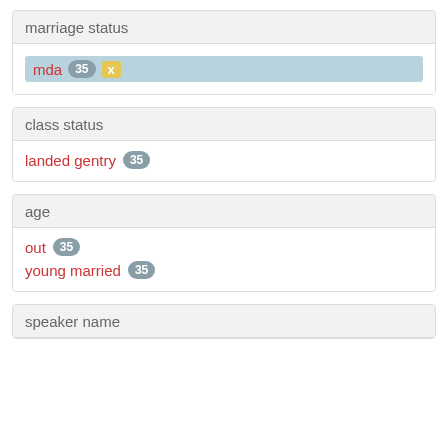marriage status
mda 35 x
class status
landed gentry 35
age
out 35
young married 35
speaker name